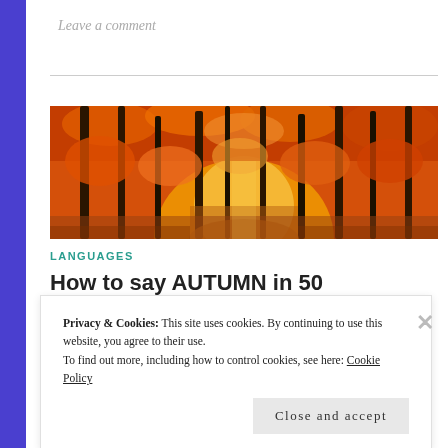Leave a comment
[Figure (photo): Wide panoramic photo of an autumn forest with tall trees covered in orange and red foliage, with a path leading into the distance bathed in golden light.]
LANGUAGES
How to say AUTUMN in 50 languages with
Privacy & Cookies: This site uses cookies. By continuing to use this website, you agree to their use. To find out more, including how to control cookies, see here: Cookie Policy
Close and accept